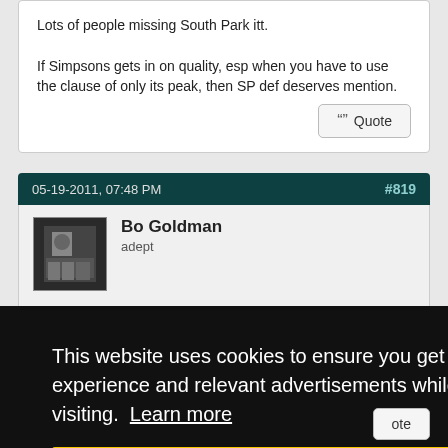Lots of people missing South Park itt.

If Simpsons gets in on quality, esp when you have to use the clause of only its peak, then SP def deserves mention.
Quote
05-19-2011, 07:48 PM  #819
Bo Goldman
adept
This website uses cookies to ensure you get the best experience and relevant advertisements while visiting.  Learn more
Got it!
ote